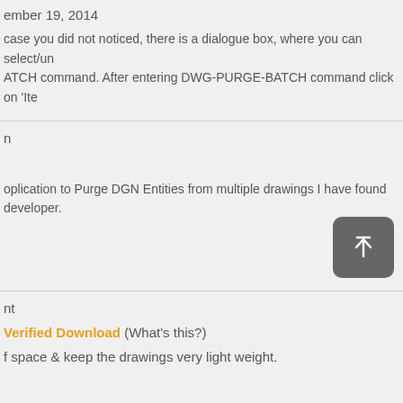ember 19, 2014
case you did not noticed, there is a dialogue box, where you can select/un ATCH command. After entering DWG-PURGE-BATCH command click on 'Ite
n
oplication to Purge DGN Entities from multiple drawings I have found developer.
nt
Verified Download (What's this?)
f space & keep the drawings very light weight.